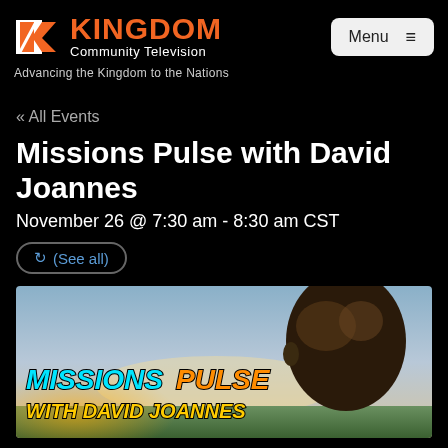KINGDOM Community Television — Advancing the Kingdom to the Nations
« All Events
Missions Pulse with David Joannes
November 26 @ 7:30 am - 8:30 am CST
(See all)
[Figure (photo): Promotional banner for Missions Pulse with David Joannes showing a man's face on the right with a sky background. Text reads MISSIONS PULSE and WITH DAVID JOANNES.]